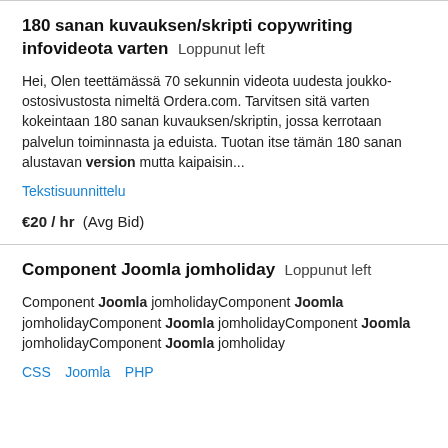180 sanan kuvauksen/skripti copywriting infovideota varten  Loppunut left
Hei, Olen teettämässä 70 sekunnin videota uudesta joukko-ostosivustosta nimeltä Ordera.com. Tarvitsen sitä varten kokeintaan 180 sanan kuvauksen/skriptin, jossa kerrotaan palvelun toiminnasta ja eduista. Tuotan itse tämän 180 sanan alustavan version mutta kaipaisin...
Tekstisuunnittelu
€20 / hr  (Avg Bid)
Component Joomla jomholiday  Loppunut left
Component Joomla jomholidayComponent Joomla jomholidayComponent Joomla jomholidayComponent Joomla jomholidayComponent Joomla jomholiday
CSS  Joomla  PHP